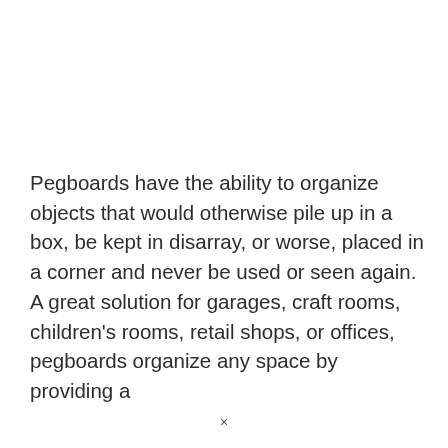Pegboards have the ability to organize objects that would otherwise pile up in a box, be kept in disarray, or worse, placed in a corner and never be used or seen again. A great solution for garages, craft rooms, children's rooms, retail shops, or offices, pegboards organize any space by providing a
×